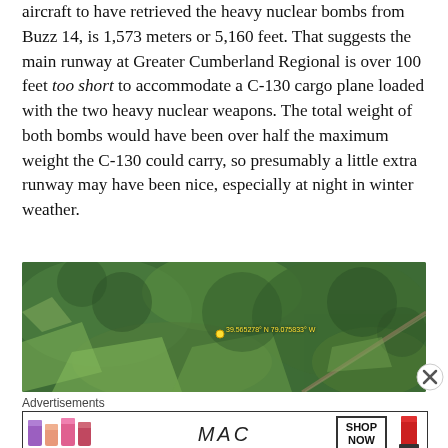aircraft to have retrieved the heavy nuclear bombs from Buzz 14, is 1,573 meters or 5,160 feet. That suggests the main runway at Greater Cumberland Regional is over 100 feet too short to accommodate a C-130 cargo plane loaded with the two heavy nuclear weapons. The total weight of both bombs would have been over half the maximum weight the C-130 could carry, so presumably a little extra runway may have been nice, especially at night in winter weather.
[Figure (photo): Aerial satellite view of a rural forested area with fields and a road visible. A yellow pin marker is placed at coordinates 39.565278° N 79.075833° W.]
Advertisements
[Figure (photo): MAC cosmetics advertisement showing colorful lipsticks on the left, MAC logo in the center, a SHOP NOW button, and red lipstick on the right.]